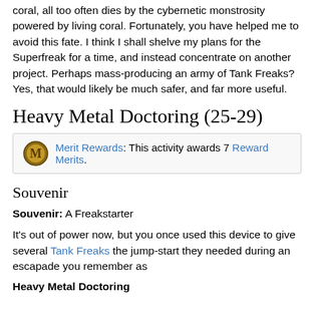coral, all too often dies by the cybernetic monstrosity powered by living coral. Fortunately, you have helped me to avoid this fate. I think I shall shelve my plans for the Superfreak for a time, and instead concentrate on another project. Perhaps mass-producing an army of Tank Freaks? Yes, that would likely be much safer, and far more useful.
Heavy Metal Doctoring (25-29)
Merit Rewards: This activity awards 7 Reward Merits.
Souvenir
Souvenir: A Freakstarter
It's out of power now, but you once used this device to give several Tank Freaks the jump-start they needed during an escapade you remember as
Heavy Metal Doctoring